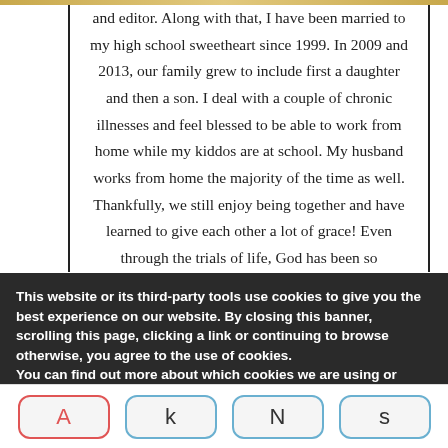and editor. Along with that, I have been married to my high school sweetheart since 1999. In 2009 and 2013, our family grew to include first a daughter and then a son. I deal with a couple of chronic illnesses and feel blessed to be able to work from home while my kiddos are at school. My husband works from home the majority of the time as well. Thankfully, we still enjoy being together and have learned to give each other a lot of grace! Even through the trials of life, God has been so
This website or its third-party tools use cookies to give you the best experience on our website. By closing this banner, scrolling this page, clicking a link or continuing to browse otherwise, you agree to the use of cookies.
You can find out more about which cookies we are using or switch them off in settings.